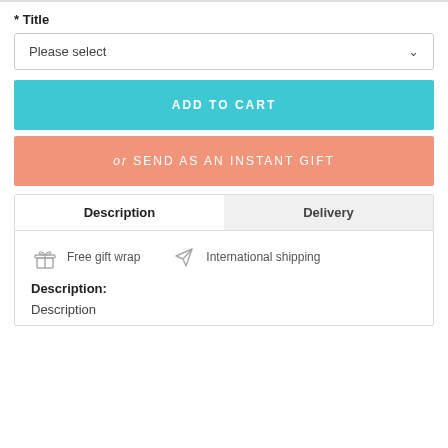* Title
Please select
ADD TO CART
or SEND AS AN INSTANT GIFT
| Description | Delivery |
| --- | --- |
Free gift wrap
International shipping
Description:
Description